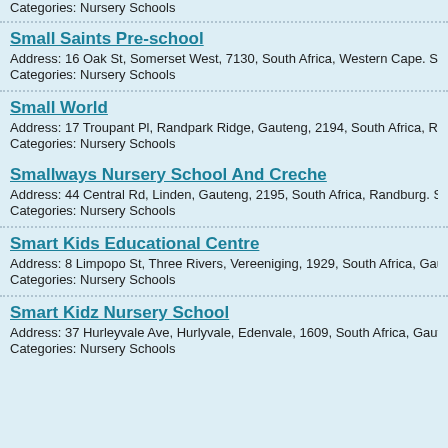Categories: Nursery Schools
Small Saints Pre-school
Address: 16 Oak St, Somerset West, 7130, South Africa, Western Cape. See
Categories: Nursery Schools
Small World
Address: 17 Troupant Pl, Randpark Ridge, Gauteng, 2194, South Africa, Ran
Categories: Nursery Schools
Smallways Nursery School And Creche
Address: 44 Central Rd, Linden, Gauteng, 2195, South Africa, Randburg. See
Categories: Nursery Schools
Smart Kids Educational Centre
Address: 8 Limpopo St, Three Rivers, Vereeniging, 1929, South Africa, Gaute
Categories: Nursery Schools
Smart Kidz Nursery School
Address: 37 Hurleyvale Ave, Hurlyvale, Edenvale, 1609, South Africa, Gauter
Categories: Nursery Schools